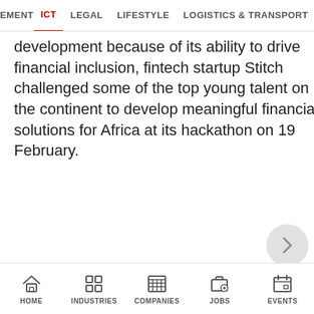EMENT  ICT  LEGAL  LIFESTYLE  LOGISTICS & TRANSPORT  MANUFA
development because of its ability to drive financial inclusion, fintech startup Stitch challenged some of the top young talent on the continent to develop meaningful financial solutions for Africa at its hackathon on 19 February.
HOME  INDUSTRIES  COMPANIES  JOBS  EVENTS